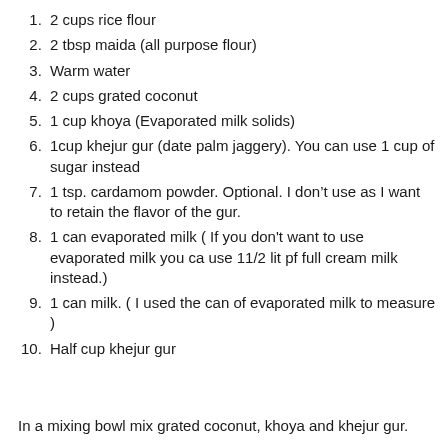2 cups rice flour
2 tbsp maida (all purpose flour)
Warm water
2 cups grated coconut
1 cup khoya (Evaporated milk solids)
1cup khejur gur (date palm jaggery). You can use 1 cup of sugar instead
1 tsp. cardamom powder. Optional. I don’t use as I want to retain the flavor of the gur.
1 can evaporated milk ( If you don't want to use evaporated milk you ca use 11/2 lit pf full cream milk instead.)
1 can milk. ( I used the can of evaporated milk to measure )
Half cup khejur gur
In a mixing bowl mix grated coconut, khoya and khejur gur.